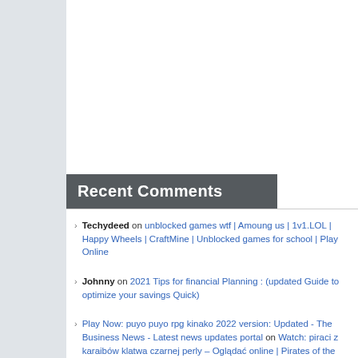Recent Comments
Techydeed on unblocked games wtf | Amoung us | 1v1.LOL | Happy Wheels | CraftMine | Unblocked games for school | Play Online
Johnny on 2021 Tips for financial Planning : (updated Guide to optimize your savings Quick)
Play Now: puyo puyo rpg kinako 2022 version: Updated - The Business News - Latest news updates portal on Watch: piraci z karaibów klatwa czarnej perly – Oglądać online | Pirates of the Caribbean: The Curse of the Black Pearl